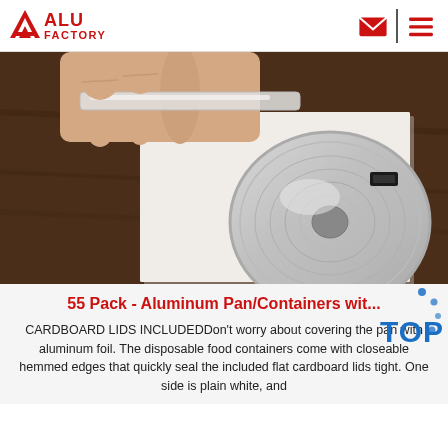ALU FACTORY
[Figure (photo): Close-up photo of a hand holding a strip of aluminum foil/lid over a round aluminum pan/container placed on a white cardboard surface on a dark wooden table.]
55 Pack - Aluminum Pan/Containers wit...
CARDBOARD LIDS INCLUDEDDon't worry about covering the pan with aluminum foil. The disposable food containers come with closeable hemmed edges that quickly seal the included flat cardboard lids tight. One side is plain white, and